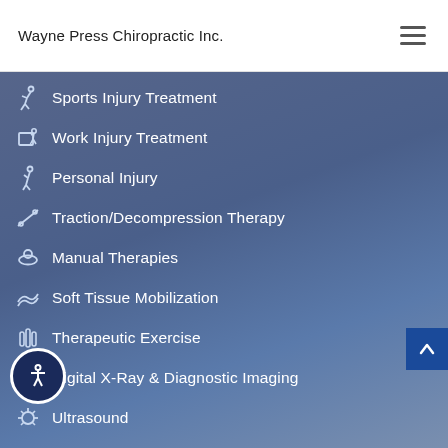Wayne Press Chiropractic Inc.
Sports Injury Treatment
Work Injury Treatment
Personal Injury
Traction/Decompression Therapy
Manual Therapies
Soft Tissue Mobilization
Therapeutic Exercise
Digital X-Ray & Diagnostic Imaging
Ultrasound
Interferential Current Therapy
Electrical Muscle Stimulation